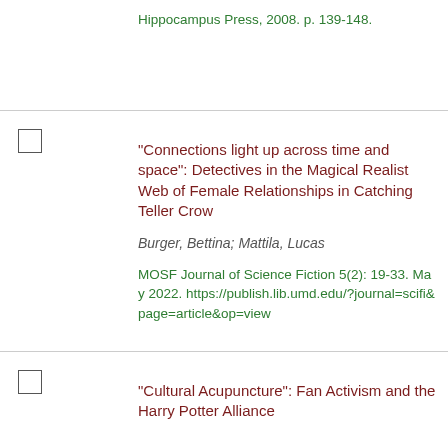Hippocampus Press, 2008. p. 139-148.
“Connections light up across time and space”: Detectives in the Magical Realist Web of Female Relationships in Catching Teller Crow
Burger, Bettina; Mattila, Lucas
MOSF Journal of Science Fiction 5(2): 19-33. May 2022. https://publish.lib.umd.edu/?journal=scifi&page=article&op=view
“Cultural Acupuncture”: Fan Activism and the Harry Potter Alliance